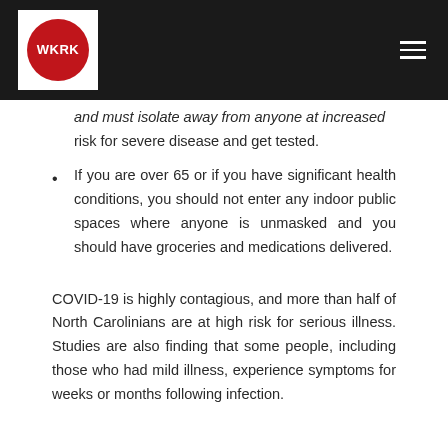WKRK
and must isolate away from anyone at increased risk for severe disease and get tested.
If you are over 65 or if you have significant health conditions, you should not enter any indoor public spaces where anyone is unmasked and you should have groceries and medications delivered.
COVID-19 is highly contagious, and more than half of North Carolinians are at high risk for serious illness. Studies are also finding that some people, including those who had mild illness, experience symptoms for weeks or months following infection.